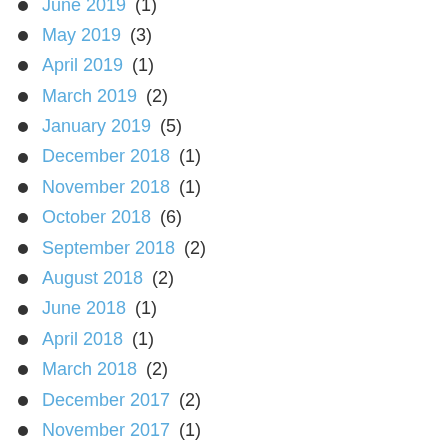June 2019 (1)
May 2019 (3)
April 2019 (1)
March 2019 (2)
January 2019 (5)
December 2018 (1)
November 2018 (1)
October 2018 (6)
September 2018 (2)
August 2018 (2)
June 2018 (1)
April 2018 (1)
March 2018 (2)
December 2017 (2)
November 2017 (1)
October 2017 (2)
September 2017 (2)
August 2017 (12)
July 2017 (2)